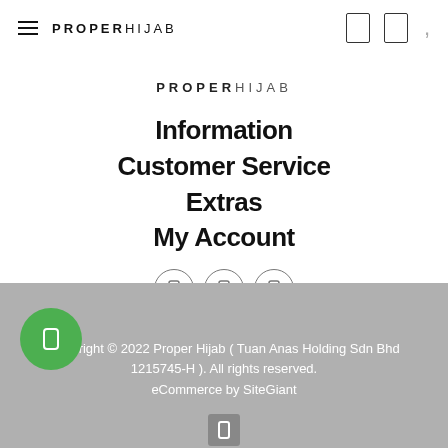PROPERHIJAB
[Figure (logo): PROPERHIJAB brand logo centered on page]
Information
Customer Service
Extras
My Account
[Figure (illustration): Three social media icon circles in a row]
Copyright © 2022 Proper Hijab ( Tuan Anas Holding Sdn Bhd 1215745-H ). All rights reserved. eCommerce by SiteGiant